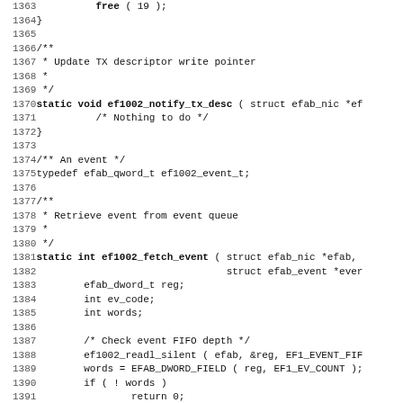Source code listing, lines 1363-1395, C source file with function definitions ef1002_notify_tx_desc and ef1002_fetch_event
[Figure (screenshot): Source code in monospace font showing C code for network driver functions including ef1002_notify_tx_desc and ef1002_fetch_event]